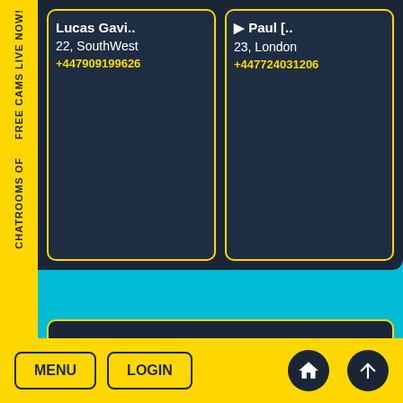FREE CAMS LIVE NOW!
Lucas Gavi.. | 22, SouthWest | +447909199626
Paul [.. | 23, London | +447724031206
Home | Terms of service | Privacy policy | Refund policy | Cancellation policy | 2257 Compliance | Anti Slavery Policy | Join Sleepyboy | Escort Live Chat | Todays Top | Escort Reviews | New Escorts | Recently Updated | Advanced Search | Escort Photos | Prestige Escorts | Circus Blog | UK Saunas | About Sleepyboy | Support |
Chatrooms of
MENU
LOGIN